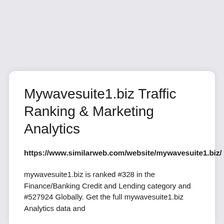Mywavesuite1.biz Traffic Ranking & Marketing Analytics
https://www.similarweb.com/website/mywavesuite1.biz/
mywavesuite1.biz is ranked #328 in the Finance/Banking Credit and Lending category and #527924 Globally. Get the full mywavesuite1.biz Analytics data and